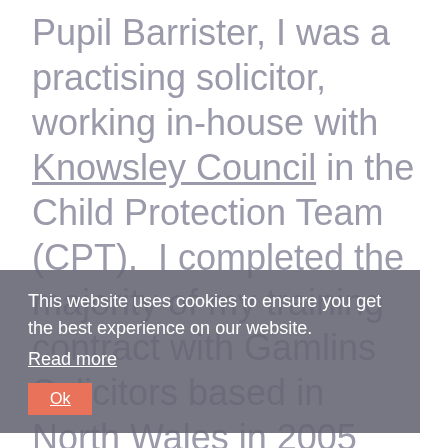Pupil Barrister, I was a practising solicitor, working in-house with Knowsley Council in the Child Protection Team (CPT).  I completed the majority of my training contract with Gamlins Solicitors based in North Wales in 2005 and transferred the last [seat] to the Council, where I qualified into CPT.  I worked as a paralegal part-time whilst I completed the Legal Practice Course and transferred
This website uses cookies to ensure you get the best experience on our website.
Read more
Ok